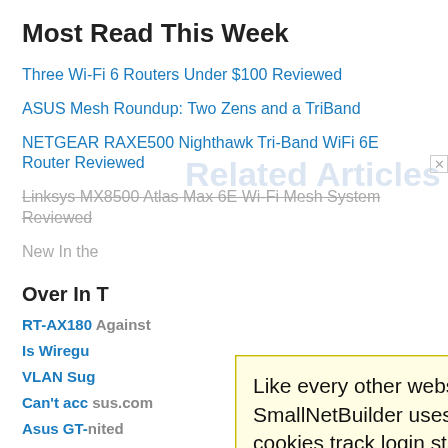Most Read This Week
Three Wi-Fi 6 Routers Under $100 Reviewed
ASUS Mesh Roundup: Two Zens and a TriBand
NETGEAR RAXE500 Nighthawk Tri-Band WiFi 6E Router Reviewed
Linksys MX8500 Atlas Max 6E Wi-Fi Mesh System Reviewed
New In the...
Over In T...
RT-AX180...
Is Wiregu...
VLAN Sug...
Can't acc... sus.com
Asus GT-... nited
Like every other website on the planet, SmallNetBuilder uses cookies. Our cookies track login status, but we only allow admins to log in anyway, so those don't apply to you. Any other cookies you pick up during your visit come from advertisers, which we don't control.
If you continue to use the site, you agree to tolerate our use of cookies. Thank you!